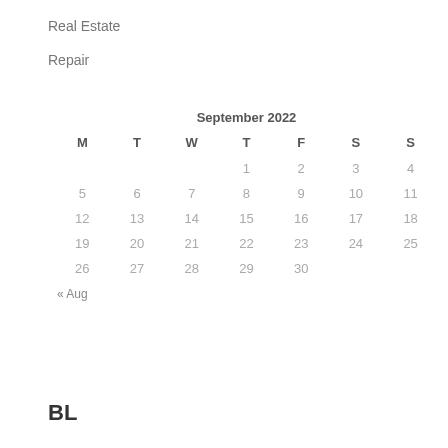Real Estate
Repair
| M | T | W | T | F | S | S |
| --- | --- | --- | --- | --- | --- | --- |
|  |  |  | 1 | 2 | 3 | 4 |
| 5 | 6 | 7 | 8 | 9 | 10 | 11 |
| 12 | 13 | 14 | 15 | 16 | 17 | 18 |
| 19 | 20 | 21 | 22 | 23 | 24 | 25 |
| 26 | 27 | 28 | 29 | 30 |  |  |
« Aug
BL